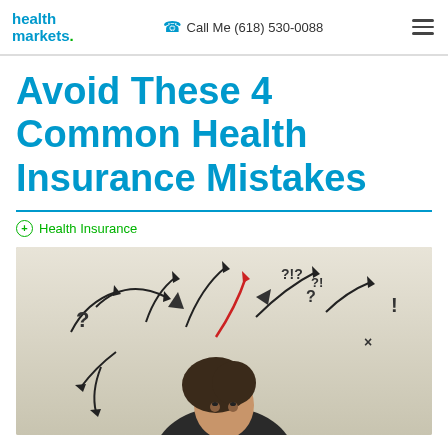health markets | Call Me (618) 530-0088
Avoid These 4 Common Health Insurance Mistakes
Health Insurance
[Figure (photo): A confused woman looking up with question marks and arrows flying around her head, suggesting confusion about health insurance choices.]